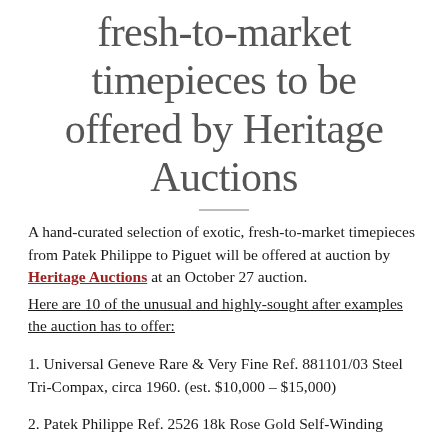fresh-to-market timepieces to be offered by Heritage Auctions
A hand-curated selection of exotic, fresh-to-market timepieces from Patek Philippe to Piguet will be offered at auction by Heritage Auctions at an October 27 auction.
Here are 10 of the unusual and highly-sought after examples the auction has to offer:
1. Universal Geneve Rare & Very Fine Ref. 881101/03 Steel Tri-Compax, circa 1960. (est. $10,000 – $15,000)
2. Patek Philippe Ref. 2526 18k Rose Gold Self-Winding